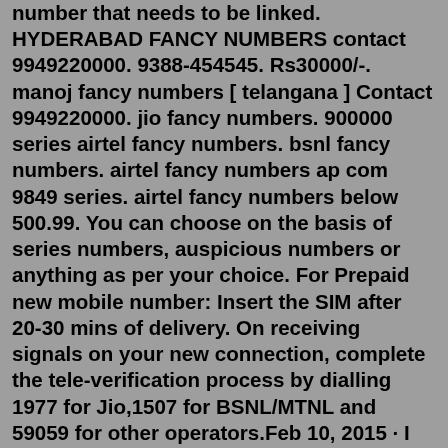number that needs to be linked. HYDERABAD FANCY NUMBERS contact 9949220000. 9388-454545. Rs30000/-. manoj fancy numbers [ telangana ] Contact 9949220000. jio fancy numbers. 900000 series airtel fancy numbers. bsnl fancy numbers. airtel fancy numbers ap com 9849 series. airtel fancy numbers below 500.99. You can choose on the basis of series numbers, auspicious numbers or anything as per your choice. For Prepaid new mobile number: Insert the SIM after 20-30 mins of delivery. On receiving signals on your new connection, complete the tele-verification process by dialling 1977 for Jio,1507 for BSNL/MTNL and 59059 for other operators.Feb 10, 2015 · I Bought Two Prepadi Airtel Prepaid Number(967766xxxx 967744xxxx) SIM Cards from Manimaran, 967722xxxx for the price of 3000. After few months my mobile Now the BSNL is intended to set a platform in order to make these Premium numbers available for the customers who are more fascinated towards Fancy Numbers. As the demand is extremly high these numbers are pooled